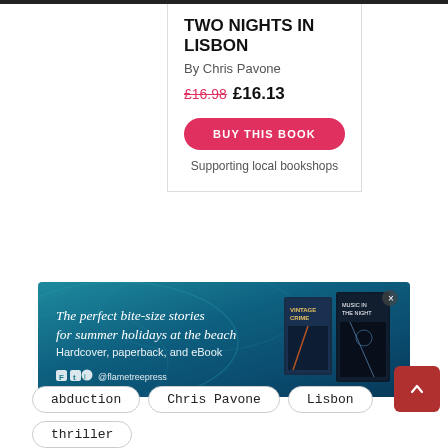TWO NIGHTS IN LISBON
By Chris Pavone
£16.98 £16.13
BUY THIS BOOK
Supporting local bookshops
[Figure (illustration): Advertising banner for Flame Tree Press showing books with text: 'The perfect bite-size stories for summer holidays at the beach. Hardcover, paperback, and eBook' with social media handles @flametreepress on a teal/blue water background with two book covers.]
abduction
Chris Pavone
Lisbon
thriller